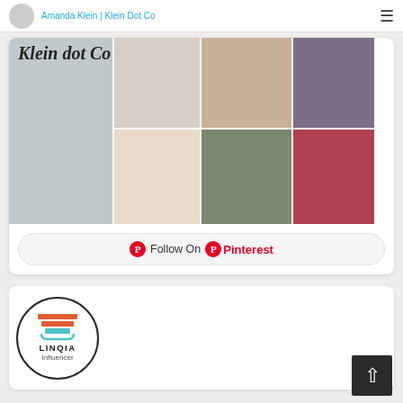Amanda Klein | Klein Dot Co
Klein dot Co
[Figure (photo): Pinterest photo grid collage with 8 lifestyle photos including food, a calendar, letter board, child, holiday table, cookies, pregnancy photo, and supplement product]
Follow On Pinterest
[Figure (logo): LINQIA Influencer logo inside a circle border]